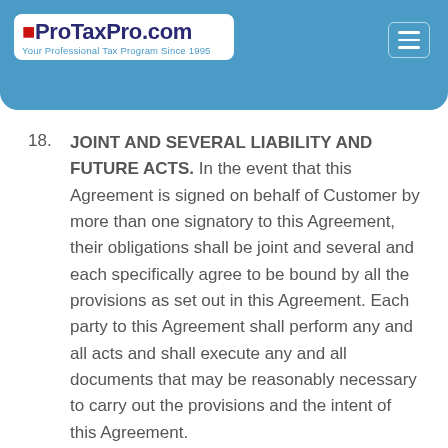ProTaxPro.com — Your Professional Tax Program Since 1995
18. JOINT AND SEVERAL LIABILITY AND FUTURE ACTS. In the event that this Agreement is signed on behalf of Customer by more than one signatory to this Agreement, their obligations shall be joint and several and each specifically agree to be bound by all the provisions as set out in this Agreement. Each party to this Agreement shall perform any and all acts and shall execute any and all documents that may be reasonably necessary to carry out the provisions and the intent of this Agreement.